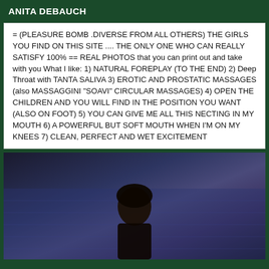ANITA DEBAUCH
= (PLEASURE BOMB .DIVERSE FROM ALL OTHERS) THE GIRLS YOU FIND ON THIS SITE .... THE ONLY ONE WHO CAN REALLY SATISFY 100% == REAL PHOTOS that you can print out and take with you What I like: 1) NATURAL FOREPLAY (TO THE END) 2) Deep Throat with TANTA SALIVA 3) EROTIC AND PROSTATIC MASSAGES (also MASSAGGINI "SOAVI" CIRCULAR MASSAGES) 4) OPEN THE CHILDREN AND YOU WILL FIND IN THE POSITION YOU WANT (ALSO ON FOOT) 5) YOU CAN GIVE ME ALL THIS NECTING IN MY MOUTH 6) A POWERFUL BUT SOFT MOUTH WHEN I'M ON MY KNEES 7) CLEAN, PERFECT AND WET EXCITEMENT
[Figure (photo): Photo of a person with dark hair against a blue patterned background]